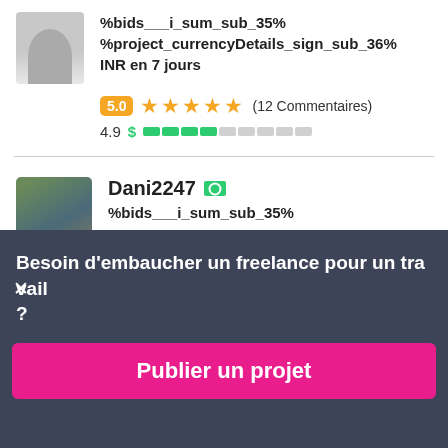%bids___i_sum_sub_35%
%project_currencyDetails_sign_sub_36%
INR en 7 jours
5.0 ★★★★★ (12 Commentaires)
4.9 $ ████░░░░░░
Dani2247
%bids___i_sum_sub_35%
Besoin d'embaucher un freelance pour un travail ?
Publier un projet